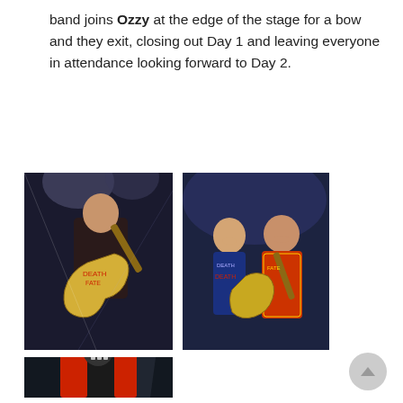band joins Ozzy at the edge of the stage for a bow and they exit, closing out Day 1 and leaving everyone in attendance looking forward to Day 2.
[Figure (photo): Concert photo: guitarist in dark outfit with guitar, stage lights behind]
[Figure (photo): Concert photo: two musicians smiling and playing guitar on stage]
[Figure (photo): Concert photo: singer with red hair holding microphone, wearing red and black jacket]